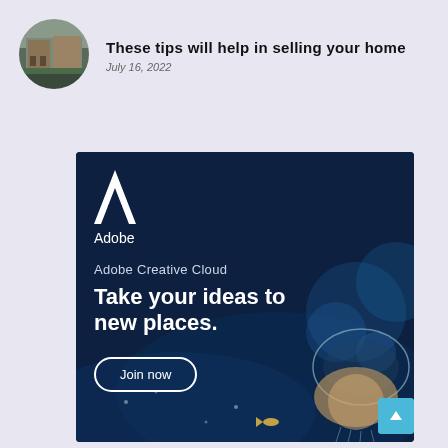[Figure (photo): Circular avatar image showing a brick building street scene]
These tips will help in selling your home
July 16, 2022
[Figure (illustration): Adobe Creative Cloud advertisement banner with dark navy background, Adobe logo, tagline 'Adobe Creative Cloud', headline 'Take your ideas to new places.', Join now button, and underwater ocean scene with jellyfish and fish]